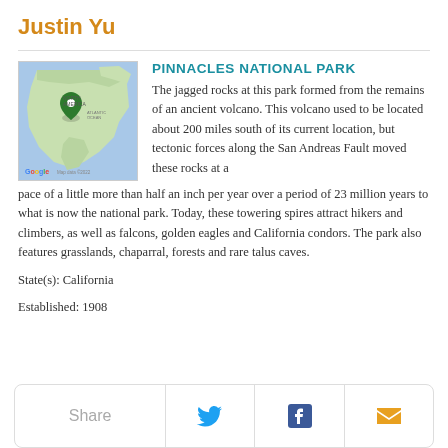Justin Yu
[Figure (map): Google map of North America showing a green pin marker over California]
PINNACLES NATIONAL PARK
The jagged rocks at this park formed from the remains of an ancient volcano. This volcano used to be located about 200 miles south of its current location, but tectonic forces along the San Andreas Fault moved these rocks at a pace of a little more than half an inch per year over a period of 23 million years to what is now the national park. Today, these towering spires attract hikers and climbers, as well as falcons, golden eagles and California condors. The park also features grasslands, chaparral, forests and rare talus caves.
State(s): California
Established: 1908